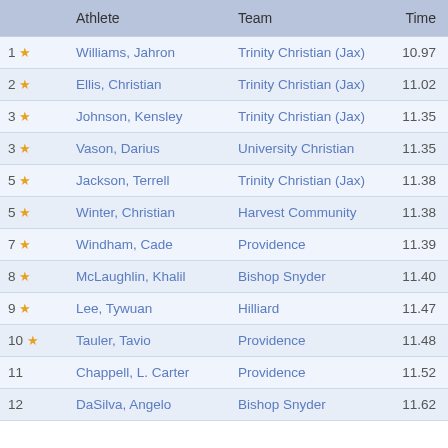|  | Athlete | Team | Time |
| --- | --- | --- | --- |
| 1 ★ | Williams, Jahron | Trinity Christian (Jax) | 10.97 |
| 2 ★ | Ellis, Christian | Trinity Christian (Jax) | 11.02 |
| 3 ★ | Johnson, Kensley | Trinity Christian (Jax) | 11.35 |
| 3 ★ | Vason, Darius | University Christian | 11.35 |
| 5 ★ | Jackson, Terrell | Trinity Christian (Jax) | 11.38 |
| 5 ★ | Winter, Christian | Harvest Community | 11.38 |
| 7 ★ | Windham, Cade | Providence | 11.39 |
| 8 ★ | McLaughlin, Khalil | Bishop Snyder | 11.40 |
| 9 ★ | Lee, Tywuan | Hilliard | 11.47 |
| 10 ★ | Tauler, Tavio | Providence | 11.48 |
| 11 | Chappell, L. Carter | Providence | 11.52 |
| 12 | DaSilva, Angelo | Bishop Snyder | 11.62 |